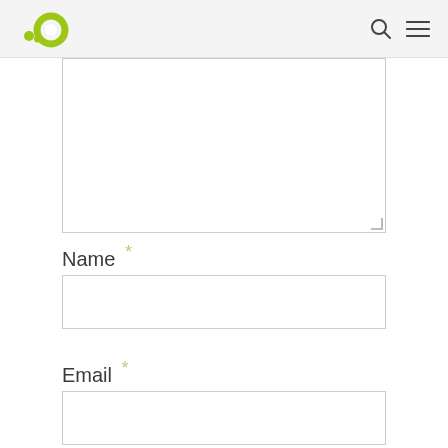.O (logo) | search icon | menu icon
[Figure (other): Large textarea input box, partially visible at top of content area, with resize handle at bottom right]
Name *
[Figure (other): Name text input field, single line, bordered box]
Email *
[Figure (other): Email text input field, single line, bordered box, partially visible]